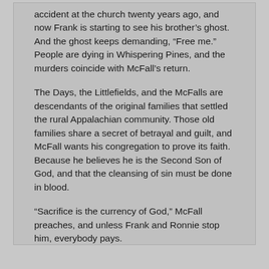accident at the church twenty years ago, and now Frank is starting to see his brother's ghost. And the ghost keeps demanding, “Free me.” People are dying in Whispering Pines, and the murders coincide with McFall’s return.
The Days, the Littlefields, and the McFalls are descendants of the original families that settled the rural Appalachian community. Those old families share a secret of betrayal and guilt, and McFall wants his congregation to prove its faith. Because he believes he is the Second Son of God, and that the cleansing of sin must be done in blood.
“Sacrifice is the currency of God,” McFall preaches, and unless Frank and Ronnie stop him, everybody pays.